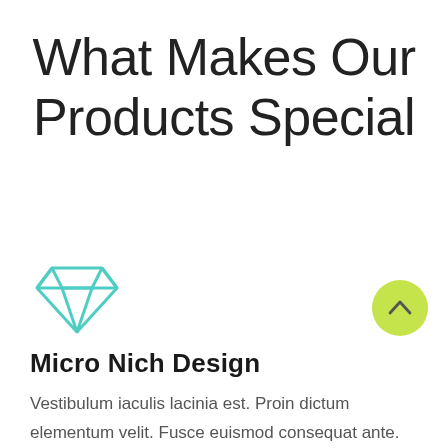What Makes Our Products Special
[Figure (illustration): Teal/mint colored diamond gemstone icon outline]
[Figure (other): Yellow-green circular scroll-to-top button with a caret/chevron arrow pointing up]
Micro Nich Design
Vestibulum iaculis lacinia est. Proin dictum elementum velit. Fusce euismod consequat ante. Lorem ipsum dolor sit amet, consectetuer.